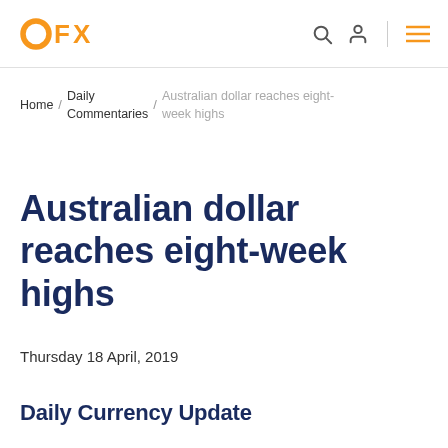OFX
Home / Daily Commentaries / Australian dollar reaches eight-week highs
Australian dollar reaches eight-week highs
Thursday 18 April, 2019
Daily Currency Update